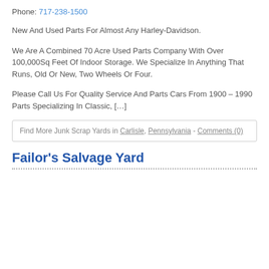Phone: 717-238-1500
New And Used Parts For Almost Any Harley-Davidson.
We Are A Combined 70 Acre Used Parts Company With Over 100,000Sq Feet Of Indoor Storage. We Specialize In Anything That Runs, Old Or New, Two Wheels Or Four.
Please Call Us For Quality Service And Parts Cars From 1900 – 1990 Parts Specializing In Classic, […]
Find More Junk Scrap Yards in Carlisle, Pennsylvania - Comments (0)
Failor's Salvage Yard